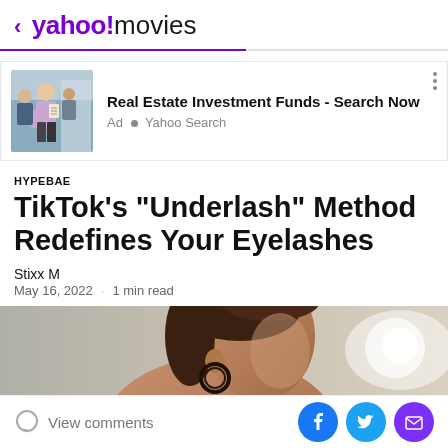< yahoo!movies
[Figure (photo): Advertisement banner with image of people (professionals/family) outdoors, with text 'Real Estate Investment Funds - Search Now', Ad • Yahoo Search]
Real Estate Investment Funds - Search Now
Ad • Yahoo Search
HYPEBAE
TikTok's "Underlash" Method Redefines Your Eyelashes
Stixx M
May 16, 2022 · 1 min read
[Figure (photo): Close-up side profile of a woman's face showing hair and ear area with a decorative circular earring, gray and brown toned background]
View comments